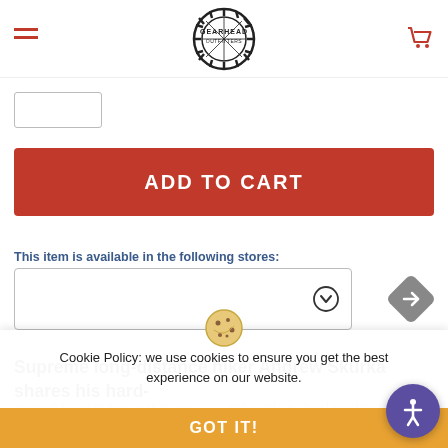Gearhead Outfitters — navigation header with hamburger menu, logo, and cart icon
ADD TO CART
This item is available in the following stores:
Supreme long-distance hiker Andrew Skurka shares his hard-earned knowledge in this essential guide to backpacking gear and skills. Described by National Geographic as "one of the best traveled and fastest hikers on the planet," and named "Adventurer of the Year" by Outside and "Person of the Year" by Backpacker, Skurka recounts what he's learned from more than 30,000 miles of long-distance adventuring
Cookie Policy: we use cookies to ensure you get the best experience on our website.
GOT IT!